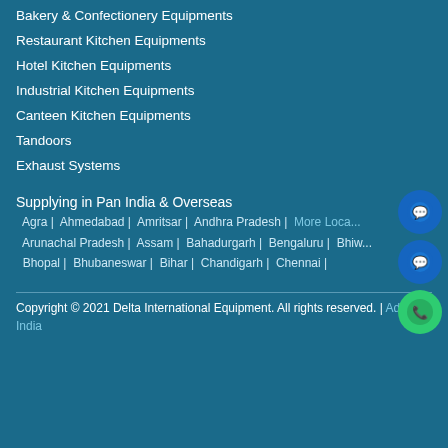Bakery & Confectionery Equipments
Restaurant Kitchen Equipments
Hotel Kitchen Equipments
Industrial Kitchen Equipments
Canteen Kitchen Equipments
Tandoors
Exhaust Systems
Supplying in Pan India & Overseas
Agra | Ahmedabad | Amritsar | Andhra Pradesh | More Locations Arunachal Pradesh | Assam | Bahadurgarh | Bengaluru | Bhiw... Bhopal | Bhubaneswar | Bihar | Chandigarh | Chennai |
Copyright © 2021 Delta International Equipment. All rights reserved. | AdNet India